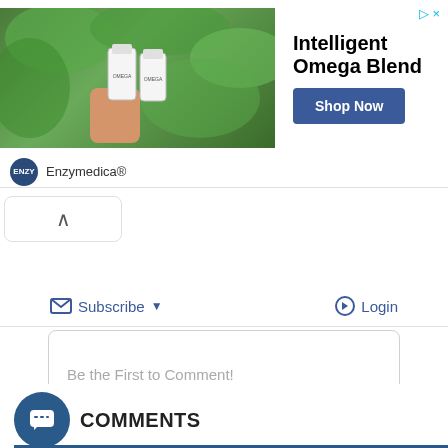[Figure (screenshot): Advertisement banner for Enzymedica Intelligent Omega Blend with product bottles image, Shop Now button, and Enzymedica brand logo]
[Figure (screenshot): Collapse/chevron up button]
Subscribe ▼
Login
Be the First to Comment!
COMMENTS